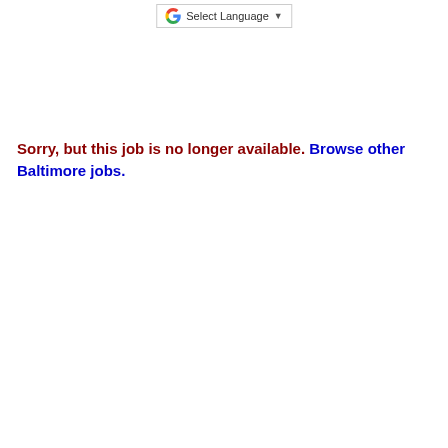Select Language
Sorry, but this job is no longer available. Browse other Baltimore jobs.